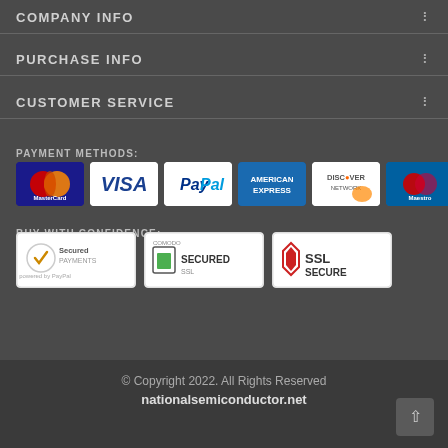COMPANY INFO
PURCHASE INFO
CUSTOMER SERVICE
PAYMENT METHODS:
[Figure (other): Payment method logos: MasterCard, VISA, PayPal, American Express, Discover Network, Maestro]
BUY WITH CONFIDENCE:
[Figure (other): Trust badges: Secured Payments powered by PayPal, Google/ComodoSSL Secured, SSL Secure]
© Copyright 2022. All Rights Reserved
nationalsemiconductor.net